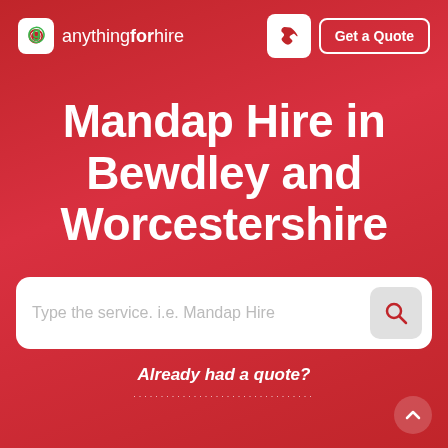[Figure (logo): anythingforhire logo with green circle-checkmark icon and text 'anythingforhire' in white]
Mandap Hire in Bewdley and Worcestershire
Type the service. i.e. Mandap Hire
Already had a quote?